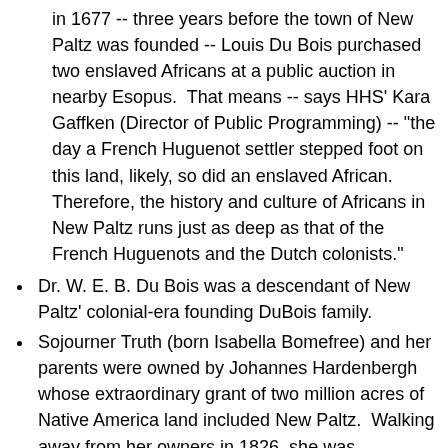in 1677 -- three years before the town of New Paltz was founded -- Louis Du Bois purchased two enslaved Africans at a public auction in nearby Esopus.  That means -- says HHS' Kara Gaffken (Director of Public Programming) -- "the day a French Huguenot settler stepped foot on this land, likely, so did an enslaved African.  Therefore, the history and culture of Africans in New Paltz runs just as deep as that of the French Huguenots and the Dutch colonists."
Dr. W. E. B. Du Bois was a descendant of New Paltz' colonial-era founding DuBois family.
Sojourner Truth (born Isabella Bomefree) and her parents were owned by Johannes Hardenbergh whose extraordinary grant of two million acres of Native America land included New Paltz.  Walking away from her owners in 1826, she was welcomed by friends in New Paltz.